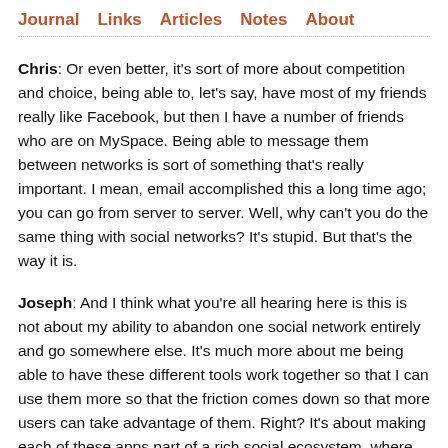Journal  Links  Articles  Notes  About
Chris: Or even better, it's sort of more about competition and choice, being able to, let's say, have most of my friends really like Facebook, but then I have a number of friends who are on MySpace. Being able to message them between networks is sort of something that's really important. I mean, email accomplished this a long time ago; you can go from server to server. Well, why can't you do the same thing with social networks? It's stupid. But that's the way it is.
Joseph: And I think what you're all hearing here is this is not about my ability to abandon one social network entirely and go somewhere else. It's much more about me being able to have these different tools work together so that I can use them more so that the friction comes down so that more users can take advantage of them. Right? It's about making each of these apps part of a rich social ecosystem, where hopefully the pie should get a lot bigger and everyone should